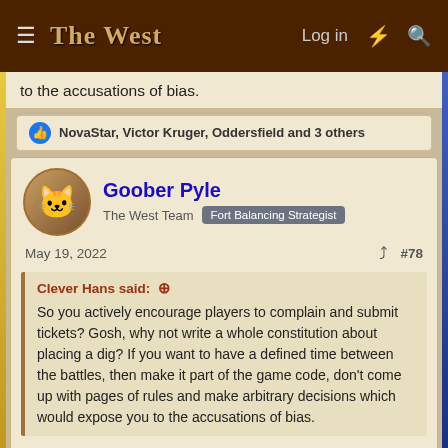The West — Log in
to the accusations of bias.
NovaStar, Victor Kruger, Oddersfield and 3 others
Goober Pyle
The West Team  Fort Balancing Strategist
May 19, 2022  #78
Clever Hans said: ↑

So you actively encourage players to complain and submit tickets? Gosh, why not write a whole constitution about placing a dig? If you want to have a defined time between the battles, then make it part of the game code, don't come up with pages of rules and make arbitrary decisions which would expose you to the accusations of bias.
As I've said repeatedly, I work within what is possible within the local community (.net), and this market is unique with it's broad time-zone exposure -- a game mechanic that might make sense